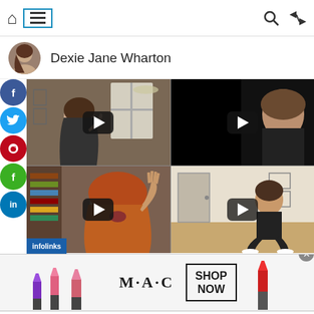Navigation bar with home, menu, search, shuffle icons
Dexie Jane Wharton
[Figure (screenshot): 2x2 grid of YouTube video thumbnails showing a woman in various settings, with play buttons overlay]
[Figure (advertisement): M·A·C cosmetics banner ad with lipsticks and SHOP NOW button]